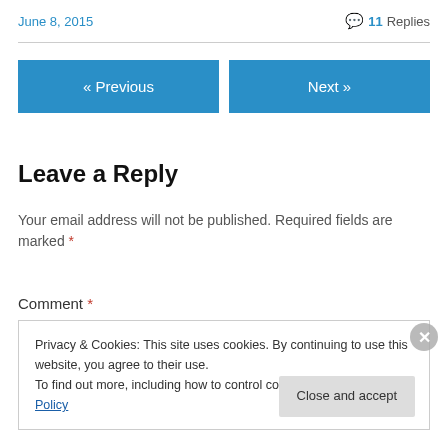June 8, 2015
💬 11 Replies
« Previous
Next »
Leave a Reply
Your email address will not be published. Required fields are marked *
Comment *
Privacy & Cookies: This site uses cookies. By continuing to use this website, you agree to their use. To find out more, including how to control cookies, see here: Cookie Policy
Close and accept